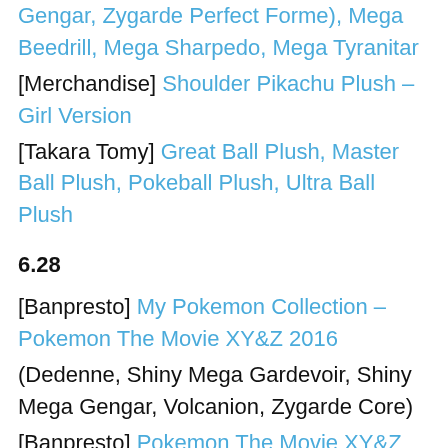Gengar, Zygarde Perfect Forme), Mega Beedrill, Mega Sharpedo, Mega Tyranitar
[Merchandise] Shoulder Pikachu Plush – Girl Version
[Takara Tomy] Great Ball Plush, Master Ball Plush, Pokeball Plush, Ultra Ball Plush
6.28
[Banpresto] My Pokemon Collection – Pokemon The Movie XY&Z 2016
(Dedenne, Shiny Mega Gardevoir, Shiny Mega Gengar, Volcanion, Zygarde Core)
[Banpresto] Pokemon The Movie XY&Z